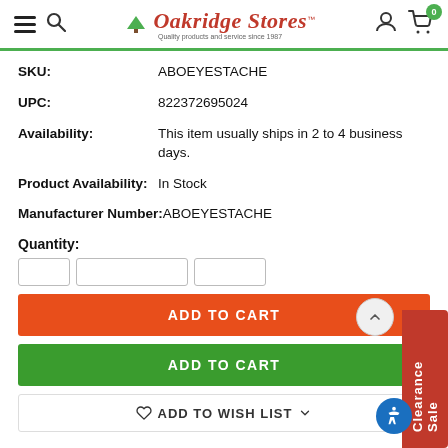Oakridge Stores – Quality products and service since 1987
SKU: ABOEYESTACHE
UPC: 822372695024
Availability: This item usually ships in 2 to 4 business days.
Product Availability: In Stock
Manufacturer Number: ABOEYESTACHE
Quantity:
ADD TO CART
ADD TO CART
ADD TO WISH LIST